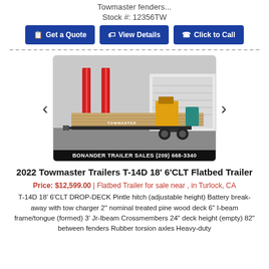Towmaster fenders...
Stock #: 12356TW
[Figure (screenshot): Three blue CTA buttons: Get a Quote, View Details, Click to Call]
[Figure (photo): Photo of a 2022 Towmaster flatbed trailer in a lot, with red safety stands, wooden deck, and Bonander Trailer Sales branding overlay at bottom.]
2022 Towmaster Trailers T-14D 18' 6'CLT Flatbed Trailer
Price: $12,599.00 | Flatbed Trailer for sale near , in Turlock, CA
T-14D 18' 6'CLT DROP-DECK Pintle hitch (adjustable height) Battery break-away with tow charger 2" nominal treated pine wood deck 6" I-beam frame/tongue (formed) 3' Jr-Ibeam Crossmembers 24" deck height (empty) 82" between fenders Rubber torsion axles Heavy-duty